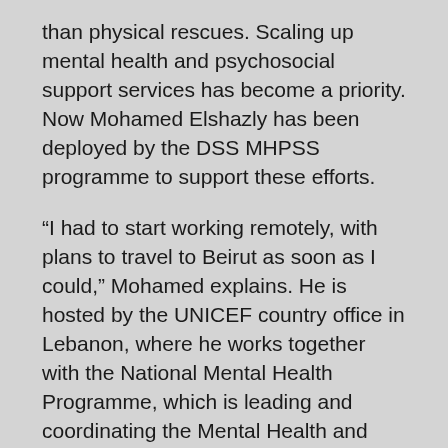than physical rescues. Scaling up mental health and psychosocial support services has become a priority. Now Mohamed Elshazly has been deployed by the DSS MHPSS programme to support these efforts.
“I had to start working remotely, with plans to travel to Beirut as soon as I could,” Mohamed explains. He is hosted by the UNICEF country office in Lebanon, where he works together with the National Mental Health Programme, which is leading and coordinating the Mental Health and Psychosocial Support Taskforce.
At first, his work focused on supporting the cross-sectoral response to mental health and psychosocial needs. Now he also promotes evidence-based interventions. He also strengthens coordination mechanisms and consolidates emergency preparedness and